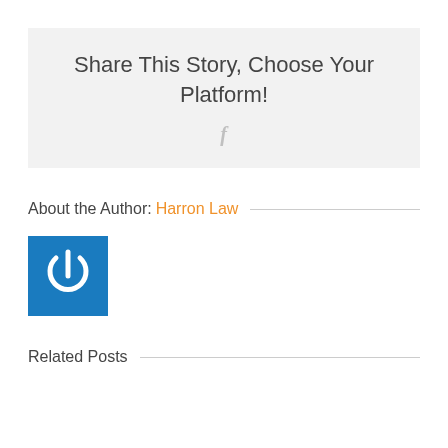Share This Story, Choose Your Platform!
[Figure (logo): Facebook 'f' icon in light gray]
About the Author: Harron Law
[Figure (logo): Blue square with white power button icon — Harron Law author avatar]
Related Posts